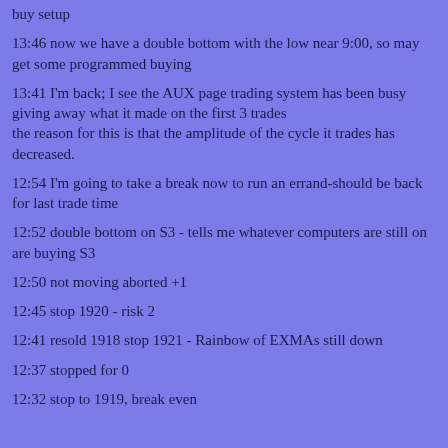buy setup
13:46 now we have a double bottom with the low near 9:00, so may get some programmed buying
13:41 I'm back; I see the AUX page trading system has been busy giving away what it made on the first 3 trades
the reason for this is that the amplitude of the cycle it trades has decreased.
12:54 I'm going to take a break now to run an errand-should be back for last trade time
12:52 double bottom on S3 - tells me whatever computers are still on are buying S3
12:50 not moving aborted +1
12:45 stop 1920 - risk 2
12:41 resold 1918 stop 1921 - Rainbow of EXMAs still down
12:37 stopped for 0
12:32 stop to 1919, break even